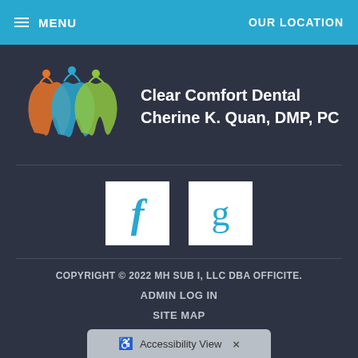MENU  OUR LOCATION
[Figure (logo): Clear Comfort Dental logo with three stylized teeth in orange, teal, and green with small figures above each tooth]
Clear Comfort Dental Cherine K. Quan, DMP, PC
[Figure (other): Facebook icon (f) in a white square box]
[Figure (other): Google icon (g) in a white square box]
COPYRIGHT © 2022 MH SUB I, LLC DBA OFFICITE.
ADMIN LOG IN
SITE MAP
Accessibility View  ×